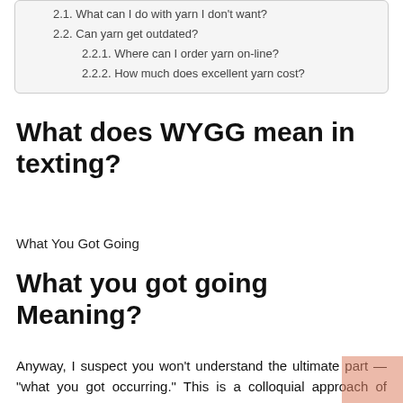2.1. What can I do with yarn I don't want?
2.2. Can yarn get outdated?
2.2.1. Where can I order yarn on-line?
2.2.2. How much does excellent yarn cost?
What does WYGG mean in texting?
What You Got Going
What you got going Meaning?
Anyway, I suspect you won't understand the ultimate part — "what you got occurring." This is a colloquial approach of claiming something to the